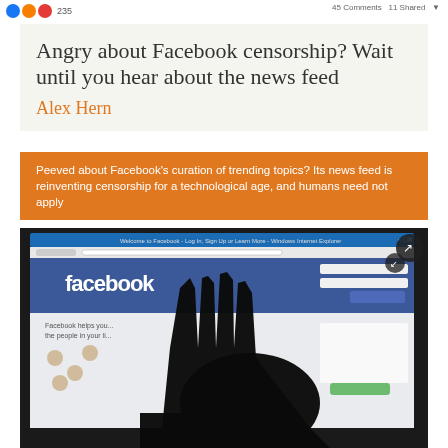235  45 Comments  11 Shared
Angry about Facebook censorship? Wait until you hear about the news feed
Alex Hern
Peeved about Facebook's curation of trending topics? Its news feed is reinventing censorship for a technological age, and humans need not apply
[Figure (photo): A silhouette of a hand reaching toward a screen displaying the Facebook homepage, photographed in low light]